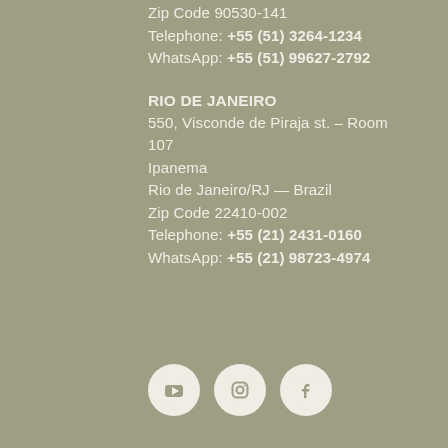Zip Code 90530-141
Telephone: +55 (51) 3264-1234
WhatsApp: +55 (51) 99627-2792
RIO DE JANEIRO
550, Visconde de Piraja st. – Room 107
Ipanema
Rio de Janeiro/RJ — Brazil
Zip Code 22410-002
Telephone: +55 (21) 2431-0160
WhatsApp: +55 (21) 98723-4974
[Figure (other): Social media icons: YouTube, Instagram, Facebook in white circles on gray background]